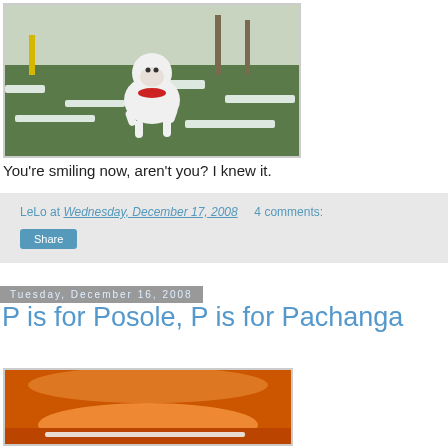[Figure (photo): White fluffy dog running on a snow-dusted green grass field in a park]
You're smiling now, aren't you? I knew it.
LeLo at Wednesday, December 17, 2008   4 comments:
Share
Tuesday, December 16, 2008
P is for Posole, P is for Pachanga
[Figure (photo): Close-up of an orange bowl or pot, likely containing posole soup]